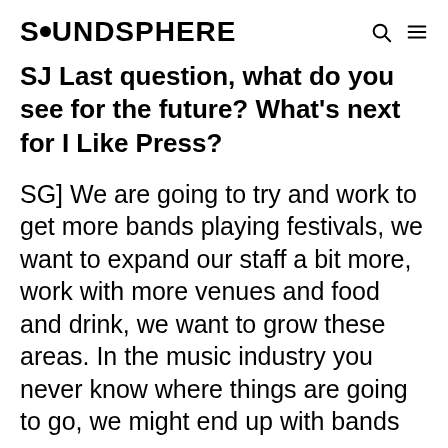SOUNDSPHERE
SJ Last question, what do you see for the future? What's next for I Like Press?
SG] We are going to try and work to get more bands playing festivals, we want to expand our staff a bit more, work with more venues and food and drink, we want to grow these areas. In the music industry you never know where things are going to go, we might end up with bands we never